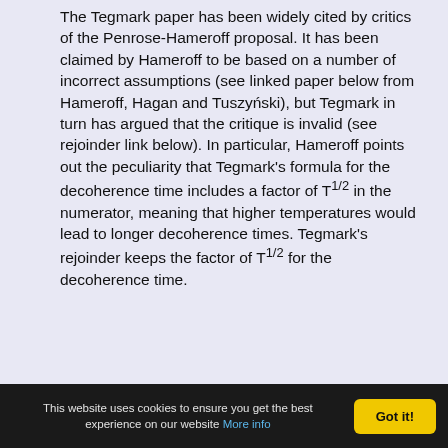The Tegmark paper has been widely cited by critics of the Penrose-Hameroff proposal. It has been claimed by Hameroff to be based on a number of incorrect assumptions (see linked paper below from Hameroff, Hagan and Tuszyński), but Tegmark in turn has argued that the critique is invalid (see rejoinder link below). In particular, Hameroff points out the peculiarity that Tegmark's formula for the decoherence time includes a factor of T^(1/2) in the numerator, meaning that higher temperatures would lead to longer decoherence times. Tegmark's rejoinder keeps the factor of T^(1/2) for the decoherence time.
This website uses cookies to ensure you get the best experience on our website More info | Got it!